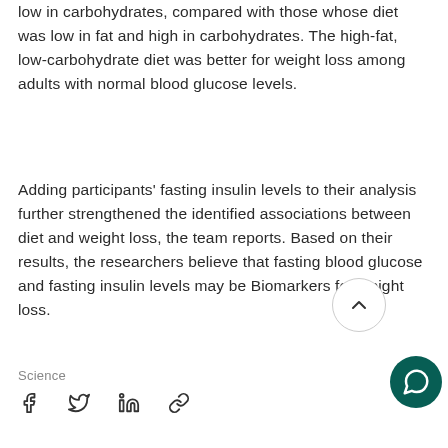low in carbohydrates, compared with those whose diet was low in fat and high in carbohydrates. The high-fat, low-carbohydrate diet was better for weight loss among adults with normal blood glucose levels.
Adding participants' fasting insulin levels to their analysis further strengthened the identified associations between diet and weight loss, the team reports. Based on their results, the researchers believe that fasting blood glucose and fasting insulin levels may be Biomarkers for weight loss.
Science